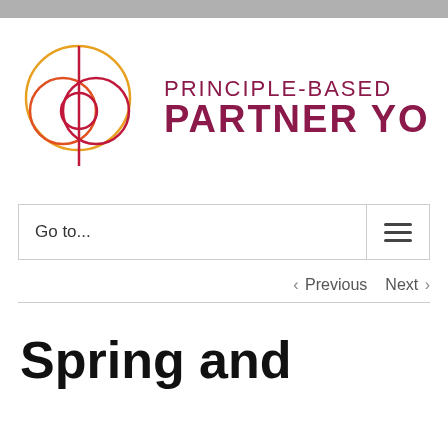[Figure (logo): Principle-Based Partner Yoga logo with two interlocking globe-like circles in orange and red gradient, divided by a vertical line]
PRINCIPLE-BASED PARTNER YO
Go to...
‹ Previous   Next ›
Spring and